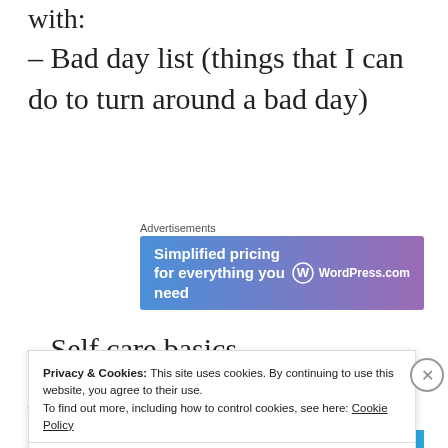with:
– Bad day list (things that I can do to turn around a bad day)
[Figure (other): WordPress.com advertisement banner: 'Simplified pricing for everything you need']
– Self care basics
Privacy & Cookies: This site uses cookies. By continuing to use this website, you agree to their use. To find out more, including how to control cookies, see here: Cookie Policy
Close and accept